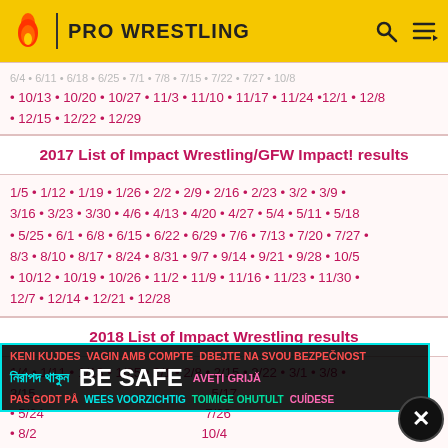PRO WRESTLING
• 10/13 • 10/20 • 10/27 • 11/3 • 11/10 • 11/17 • 11/24 •12/1 • 12/8 • 12/15 • 12/22 • 12/29
2017 List of Impact Wrestling/GFW Impact! results
1/5 • 1/12 • 1/19 • 1/26 • 2/2 • 2/9 • 2/16 • 2/23 • 3/2 • 3/9 • 3/16 • 3/23 • 3/30 • 4/6 • 4/13 • 4/20 • 4/27 • 5/4 • 5/11 • 5/18 • 5/25 • 6/1 • 6/8 • 6/15 • 6/22 • 6/29 • 7/6 • 7/13 • 7/20 • 7/27 • 8/3 • 8/10 • 8/17 • 8/24 • 8/31 • 9/7 • 9/14 • 9/21 • 9/28 • 10/5 • 10/12 • 10/19 • 10/26 • 11/2 • 11/9 • 11/16 • 11/23 • 11/30 • 12/7 • 12/14 • 12/21 • 12/28
2018 List of Impact Wrestling results
1/4 • 1/11 • 1/18 • 1/25 • 2/1 • 2/8 • 2/15 • 2/22 • 3/1 • 3/8 • 3/15 … 5/17 • 5/24 … 7/26 • 8/2 … 10/4 • 10/11 • 10/18 • 10/25 • 11/1 • 11/8 • 11/15 • 11/22 • 11/29